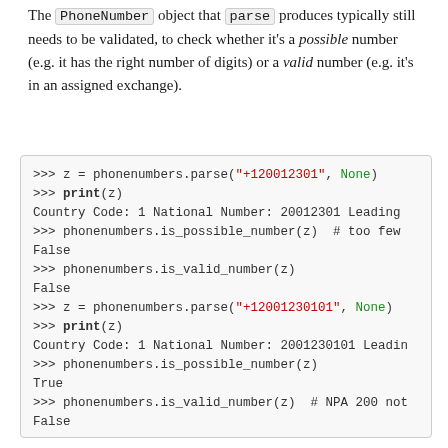The PhoneNumber object that parse produces typically still needs to be validated, to check whether it's a possible number (e.g. it has the right number of digits) or a valid number (e.g. it's in an assigned exchange).
[Figure (screenshot): Python interactive shell code block showing phonenumbers.parse, print, is_possible_number, and is_valid_number calls with results.]